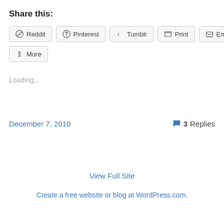Share this:
Reddit
Pinterest
Tumblr
Print
Email
More
Loading...
December 7, 2010
3 Replies
View Full Site
Create a free website or blog at WordPress.com.